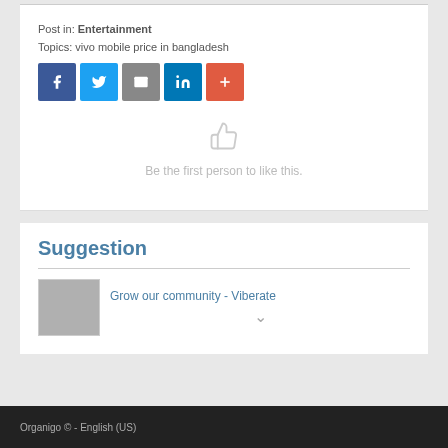Post in: Entertainment
Topics: vivo mobile price in bangladesh
[Figure (infographic): Row of five social sharing icons: Facebook (blue), Twitter (light blue), Email (grey), LinkedIn (dark blue), More/Plus (orange-red)]
[Figure (infographic): Thumbs up like icon in light grey]
Be the first person to like this.
Suggestion
Grow our community - Viberate
Organigo © - English (US)